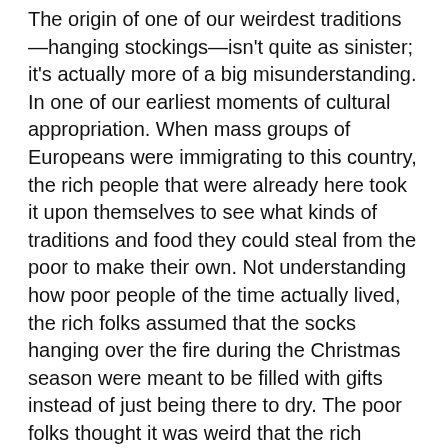The origin of one of our weirdest traditions—hanging stockings—isn't quite as sinister; it's actually more of a big misunderstanding. In one of our earliest moments of cultural appropriation. When mass groups of Europeans were immigrating to this country, the rich people that were already here took it upon themselves to see what kinds of traditions and food they could steal from the poor to make their own. Not understanding how poor people of the time actually lived, the rich folks assumed that the socks hanging over the fire during the Christmas season were meant to be filled with gifts instead of just being there to dry. The poor folks thought it was weird that the rich people kept putting things inside their wet socks, but they thought it might have just been a rich-people thing. Neither side corrected the other and that's how we got here.
A lot of you are going to be upset with this next one, but we really missed the mark with presents. We've...